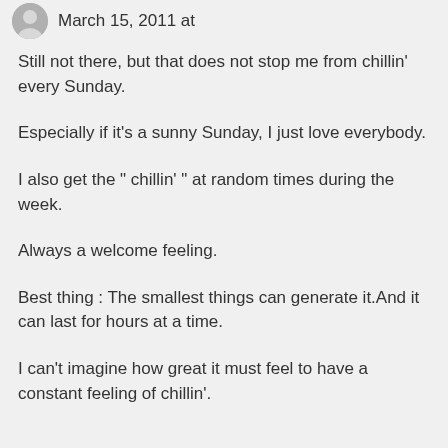March 15, 2011 at
Still not there, but that does not stop me from chillin' every Sunday.
Especially if it's a sunny Sunday, I just love everybody.
I also get the " chillin' " at random times during the week.
Always a welcome feeling.
Best thing : The smallest things can generate it.And it can last for hours at a time.
I can't imagine how great it must feel to have a constant feeling of chillin'.